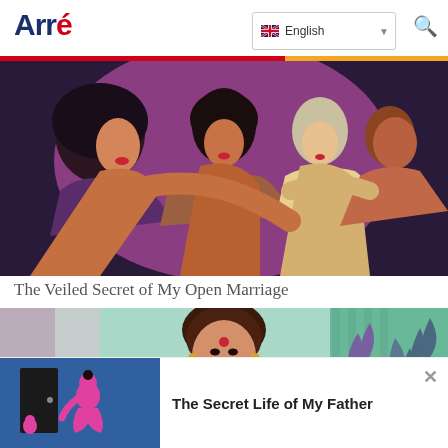Arré
[Figure (illustration): Stylized illustration of three women with dark hair and red lips in profile, wearing purple and magenta outfits against a pink/purple background, rendered in a flat art style]
The Veiled Secret of My Open Marriage
[Figure (illustration): Stylized illustration of an Indian woman with a bindi and earrings against a teal/green background with decorative plant elements]
[Figure (illustration): Notification banner illustration: pink figure crouching near a dark door on a blue background]
The Secret Life of My Father